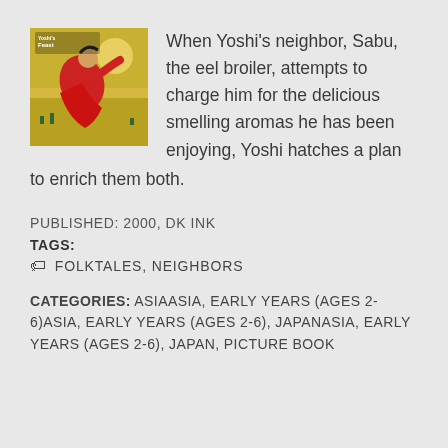[Figure (illustration): Book cover for 'Yoshi's Feast' showing a stylized figure in red on a yellow/golden background]
When Yoshi's neighbor, Sabu, the eel broiler, attempts to charge him for the delicious smelling aromas he has been enjoying, Yoshi hatches a plan to enrich them both.
PUBLISHED: 2000, DK INK
TAGS:
FOLKTALES, NEIGHBORS
CATEGORIES: ASIAASIA, EARLY YEARS (AGES 2-6)ASIA, EARLY YEARS (AGES 2-6), JAPANASIA, EARLY YEARS (AGES 2-6), JAPAN, PICTURE BOOK